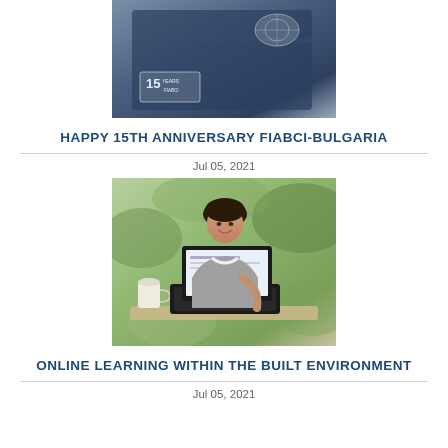[Figure (photo): Photo of a dark blue folder/envelope with a 15 Years FIABCI anniversary badge and a globe logo sticker on top]
HAPPY 15TH ANNIVERSARY FIABCI-BULGARIA
Jul 05, 2021
[Figure (photo): Photo of a smiling woman with long dark hair working on a laptop at an outdoor cafe table with a coffee cup nearby, greenery in background]
ONLINE LEARNING WITHIN THE BUILT ENVIRONMENT
Jul 05, 2021